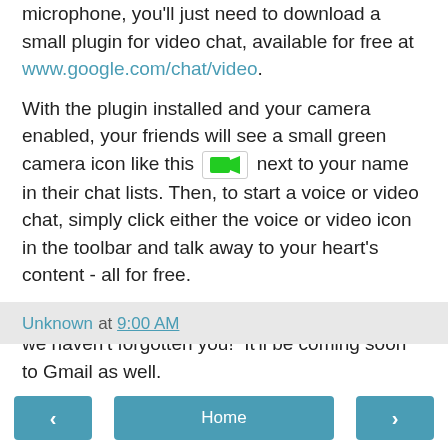microphone, you'll just need to download a small plugin for video chat, available for free at www.google.com/chat/video.
With the plugin installed and your camera enabled, your friends will see a small green camera icon like this [camera icon] next to your name in their chat lists. Then, to start a voice or video chat, simply click either the voice or video icon in the toolbar and talk away to your heart's content - all for free.
If you primarily use chat in Gmail, don't worry, we haven't forgotten you!  It'll be coming soon to Gmail as well.
Posted by Bruce Leban
Software Engineer
Unknown at 9:00 AM
‹  Home  ›